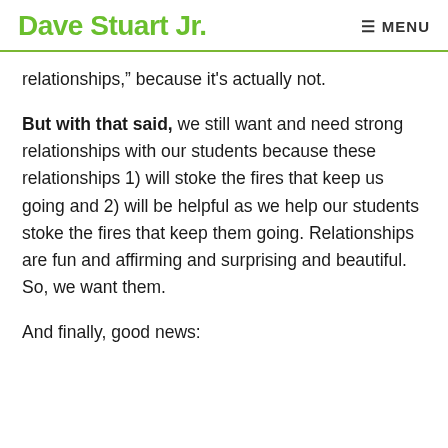Dave Stuart Jr. MENU
relationships," because it's actually not.
But with that said, we still want and need strong relationships with our students because these relationships 1) will stoke the fires that keep us going and 2) will be helpful as we help our students stoke the fires that keep them going. Relationships are fun and affirming and surprising and beautiful. So, we want them.
And finally, good news: